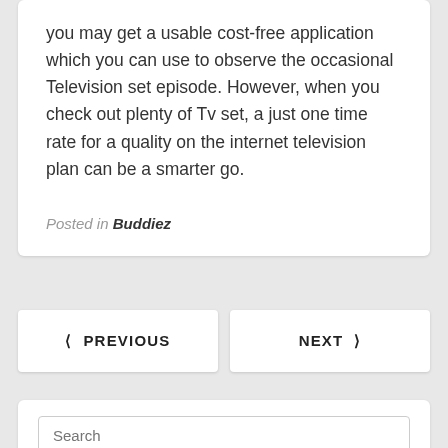you may get a usable cost-free application which you can use to observe the occasional Television set episode. However, when you check out plenty of Tv set, a just one time rate for a quality on the internet television plan can be a smarter go.
Posted in Buddiez
< PREVIOUS
NEXT >
Search